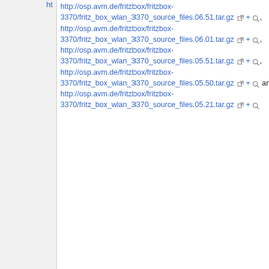| Field | Value |
| --- | --- |
| ht | http://osp.avm.de/fritzbox/fritzbox-3370/fritz_box_wlan_3370_source_files.06.51.tar.gz + 🔍, http://osp.avm.de/fritzbox/fritzbox-3370/fritz_box_wlan_3370_source_files.06.01.tar.gz + 🔍, http://osp.avm.de/fritzbox/fritzbox-3370/fritz_box_wlan_3370_source_files.05.51.tar.gz + 🔍, http://osp.avm.de/fritzbox/fritzbox-3370/fritz_box_wlan_3370_source_files.05.50.tar.gz + 🔍 and http://osp.avm.de/fritzbox/fritzbox-3370/fritz_box_wlan_3370_source_files.05.21.tar.gz + 🔍 |
| Speed2 FritzBox | (supported) + 🔍 |
| Support | eos + 🔍 |
| Tag |  |